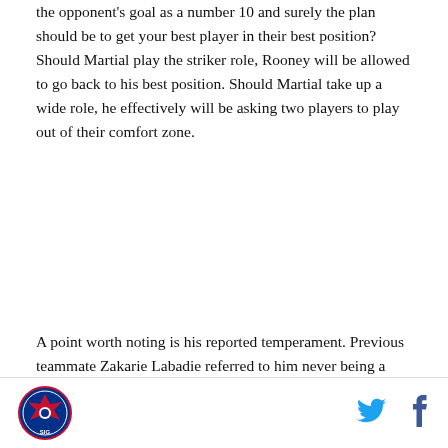the opponent's goal as a number 10 and surely the plan should be to get your best player in their best position? Should Martial play the striker role, Rooney will be allowed to go back to his best position. Should Martial take up a wide role, he effectively will be asking two players to play out of their comfort zone.
A point worth noting is his reported temperament. Previous teammate Zakarie Labadie referred to him never being a player who made it to training early and the young Frenchman has a reputation for looking nonchalant on the pitch. Those are traits that do not fit with Van Gaal's style of management, so it will be interesting to see if they are accurate. The player is 19 and even if he is as described, he can change. I think
[Figure (logo): Circular sports logo with eagle/bird emblem]